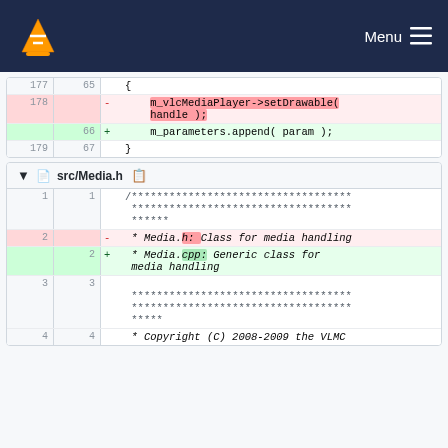VLC Menu
[Figure (screenshot): Code diff view showing two sections. First section shows lines 177-179/65-67 with a deletion of m_vlcMediaPlayer->setDrawable(handle); and addition of m_parameters.append(param);. Second section shows src/Media.h file diff with lines 1-4 including comment block changes from Media.h to Media.cpp description.]
177  65  {
178     -  m_vlcMediaPlayer->setDrawable( handle );
     66  +  m_parameters.append( param );
179  67  }
src/Media.h
1  1  /************************************** *********************************** ******
2     -  * Media.h: Class for media handling
   2  +  * Media.cpp: Generic class for media handling
3  3     *** ... ***
4  4     * Copyright (C) 2008-2009 the VLMC